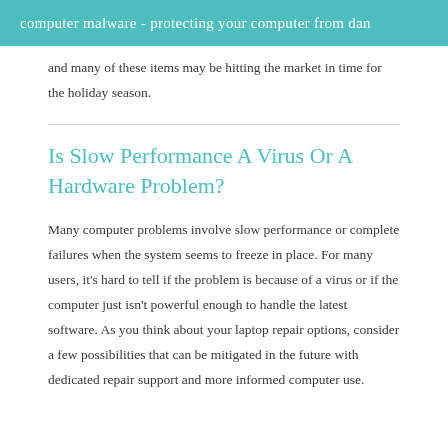computer malware - protecting your computer from dan
and many of these items may be hitting the market in time for the holiday season.
Is Slow Performance A Virus Or A Hardware Problem?
Many computer problems involve slow performance or complete failures when the system seems to freeze in place. For many users, it's hard to tell if the problem is because of a virus or if the computer just isn't powerful enough to handle the latest software. As you think about your laptop repair options, consider a few possibilities that can be mitigated in the future with dedicated repair support and more informed computer use.